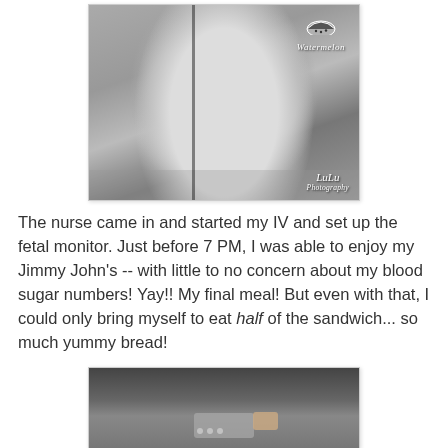[Figure (photo): Black and white photo of a pregnant woman in a hospital gown standing in a hallway. A watermelon logo and 'Watermelon' text overlay appears in the upper right, and a 'LuLu Photography' watermark is in the lower right corner.]
The nurse came in and started my IV and set up the fetal monitor. Just before 7 PM, I was able to enjoy my Jimmy John's -- with little to no concern about my blood sugar numbers! Yay!! My final meal! But even with that, I could only bring myself to eat half of the sandwich... so much yummy bread!
[Figure (photo): Color photo (partially visible) showing what appears to be a fetal monitor or medical equipment on a wooden surface.]